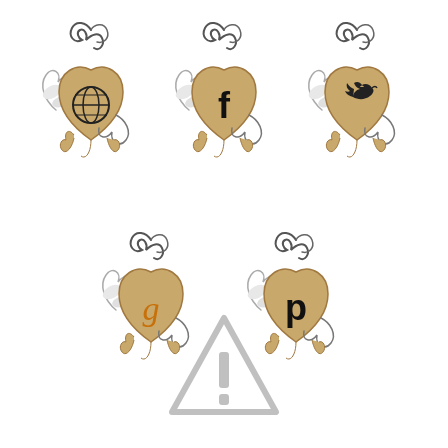[Figure (illustration): Five decorative ornate ghost-heart social media icons arranged in two rows: website (www globe), Facebook (f), Twitter (bird), Goodreads (g), Pinterest (p). Each icon features a tan/khaki heart-shaped ghost figure with ornamental swirl decorations and white wing-like elements, each bearing a social media logo. Below them is a light grey warning triangle with exclamation mark.]
[Figure (illustration): Warning triangle icon with exclamation mark in light grey color]